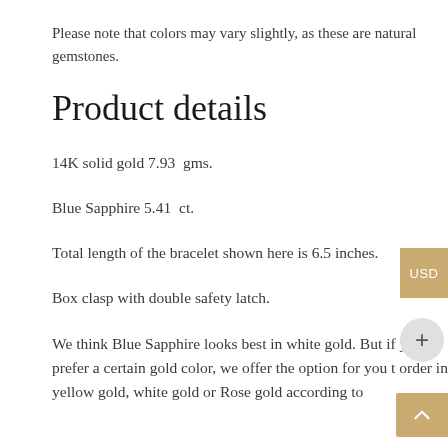Please note that colors may vary slightly, as these are natural gemstones.
Product details
14K solid gold 7.93  gms.
Blue Sapphire 5.41  ct.
Total length of the bracelet shown here is 6.5 inches.
Box clasp with double safety latch.
We think Blue Sapphire looks best in white gold. But if you prefer a certain gold color, we offer the option for you t order in yellow gold, white gold or Rose gold according to